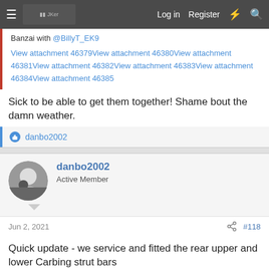Log in  Register
Banzai with @BillyT_EK9
View attachment 46379View attachment 46380View attachment 46381View attachment 46382View attachment 46383View attachment 46384View attachment 46385
Sick to be able to get them together! Shame bout the damn weather.
danbo2002
danbo2002
Active Member
Jun 2, 2021  #118
Quick update - we service and fitted the rear upper and lower Carbing strut bars
[Figure (photo): Bottom edge of a car photo, teal/blue tones]